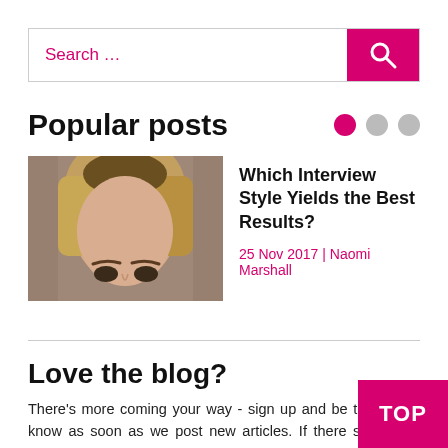Search …
Popular posts
[Figure (photo): Close-up photo of a young blonde woman's face against a blurred background]
Which Interview Style Yields the Best Results?
25 Nov 2017 | Naomi Marshall
Love the blog?
There's more coming your way - sign up and be the first to know as soon as we post new articles. If there something you'd like to hear more about, we'd lo hear from you!